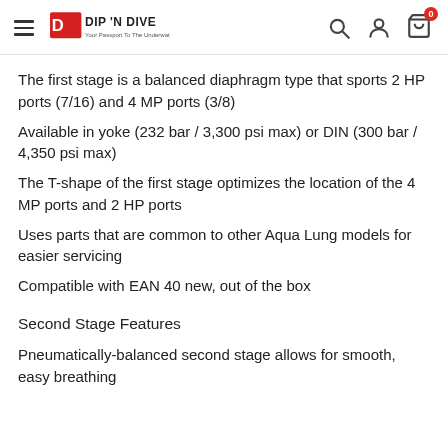DIP 'N DIVE — Your Passport To The Underwater World
The first stage is a balanced diaphragm type that sports 2 HP ports (7/16) and 4 MP ports (3/8)
Available in yoke (232 bar / 3,300 psi max) or DIN (300 bar / 4,350 psi max)
The T-shape of the first stage optimizes the location of the 4 MP ports and 2 HP ports
Uses parts that are common to other Aqua Lung models for easier servicing
Compatible with EAN 40 new, out of the box
Second Stage Features
Pneumatically-balanced second stage allows for smooth, easy breathing